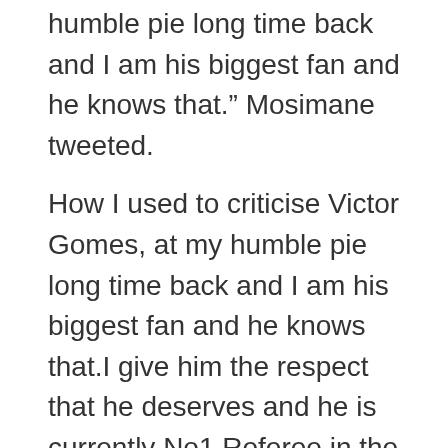humble pie long time back and I am his biggest fan and he knows that.” Mosimane tweeted.
How I used to criticise Victor Gomes, at my humble pie long time back and I am his biggest fan and he knows that.I give him the respect that he deserves and he is currently No1 Referee in the Continent. pic.twitter.com/xpwNUeY3C8
“I give him the respect that he deserves. And he is currently No1 Referee in the Continent.
“Just finished watching the Wydad vs A Petro Luyanda. The manner at which he managed the